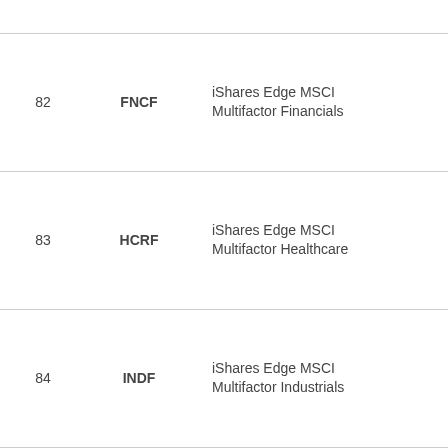| # | Ticker | Name | Type |
| --- | --- | --- | --- |
| 82 | FNCF | iShares Edge MSCI Multifactor Financials | Sector |
| 83 | HCRF | iShares Edge MSCI Multifactor Healthcare | Sector |
| 84 | INDF | iShares Edge MSCI Multifactor Industrials | Sector |